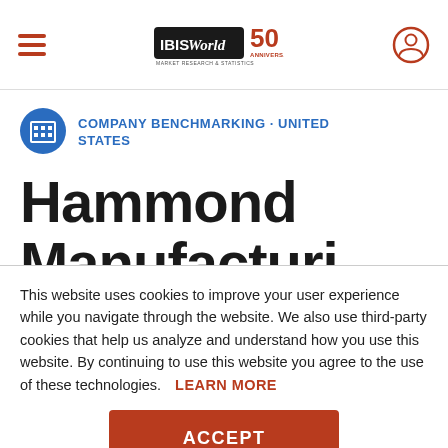IBISWorld 50th Anniversary — Company Benchmarking · United States — Hammond Manufacturing
COMPANY BENCHMARKING · UNITED STATES
Hammond Manufacturing
This website uses cookies to improve your user experience while you navigate through the website. We also use third-party cookies that help us analyze and understand how you use this website. By continuing to use this website you agree to the use of these technologies. LEARN MORE
ACCEPT